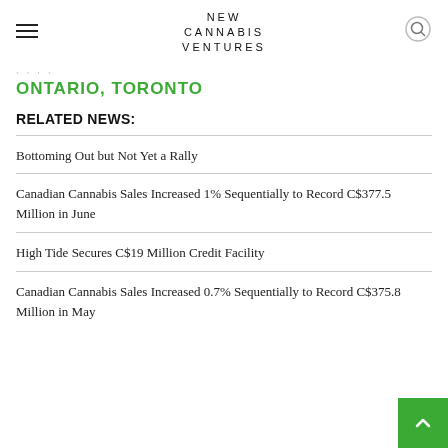NEW CANNABIS VENTURES
ONTARIO, TORONTO
RELATED NEWS:
Bottoming Out but Not Yet a Rally
Canadian Cannabis Sales Increased 1% Sequentially to Record C$377.5 Million in June
High Tide Secures C$19 Million Credit Facility
Canadian Cannabis Sales Increased 0.7% Sequentially to Record C$375.8 Million in May